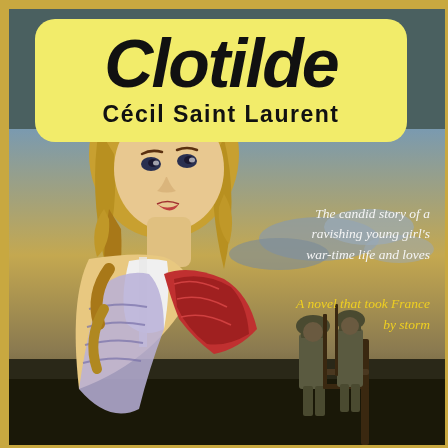Clotilde
Cécil Saint Laurent
The candid story of a ravishing young girl's war-time life and loves
A novel that took France by storm
[Figure (illustration): Vintage pulp fiction book cover showing a blonde woman in a white top holding a red garment, looking back over her shoulder. In the background, two soldiers with helmets and rifles stand near a fence post under a dramatic cloudy sky.]